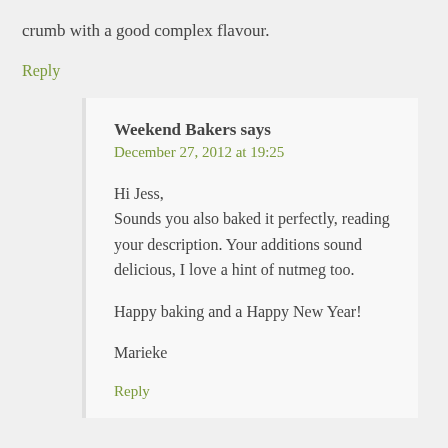crumb with a good complex flavour.
Reply
Weekend Bakers says
December 27, 2012 at 19:25
Hi Jess,
Sounds you also baked it perfectly, reading your description. Your additions sound delicious, I love a hint of nutmeg too.

Happy baking and a Happy New Year!

Marieke
Reply